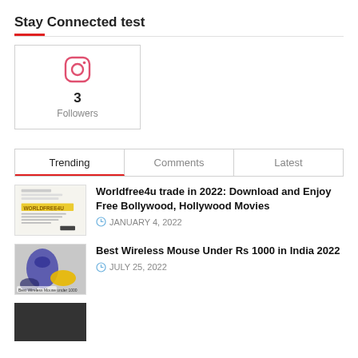Stay Connected test
[Figure (logo): Instagram icon with follower count: 3 Followers]
Trending | Comments | Latest
Worldfree4u trade in 2022: Download and Enjoy Free Bollywood, Hollywood Movies
JANUARY 4, 2022
Best Wireless Mouse Under Rs 1000 in India 2022
JULY 25, 2022